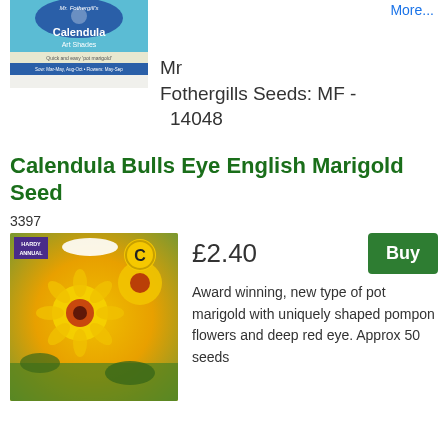[Figure (photo): Mr Fothergills seed packet for Calendula Art Shades, blue and white label with brand logo]
Mr Fothergills Seeds: MF - 14048
More...
Calendula Bulls Eye English Marigold Seed
3397
[Figure (photo): Photo of yellow Calendula Bulls Eye flowers with deep red centres, seed packet overlay showing HARDY ANNUAL badge and C logo]
£2.40
Buy
Award winning, new type of pot marigold with uniquely shaped pompon flowers and deep red eye. Approx 50 seeds